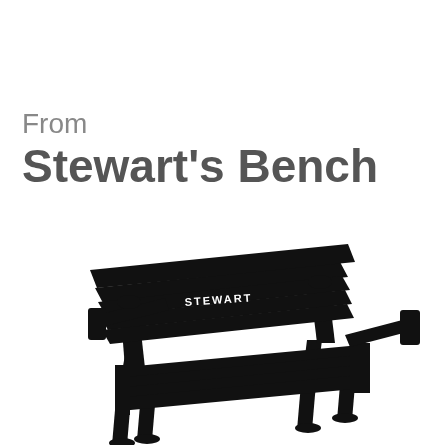From
Stewart's Bench
[Figure (illustration): Black silhouette of a park bench viewed from a slight angle, with the word STEWART written in white text on the back slat.]